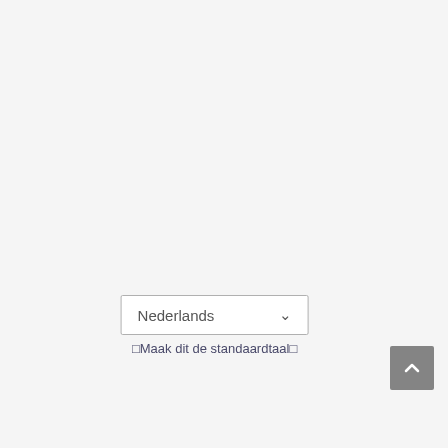[Figure (screenshot): Language selector dropdown showing 'Nederlands' with dropdown arrow, and text 'Maak dit de standaardtaal' below it. A grey scroll-to-top button with an upward chevron arrow is in the bottom right corner.]